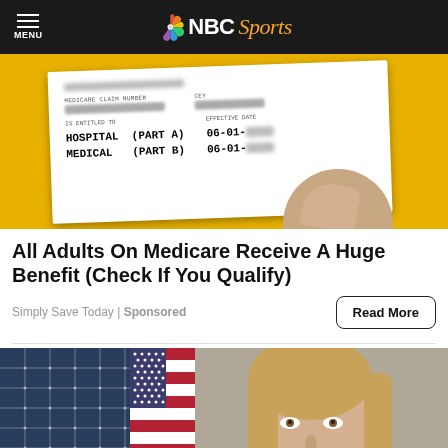NBC Sports
[Figure (photo): Hand holding a Medicare insurance card with yellow background. Card shows MEDICARE CLAIM NUMBER (blurred), IS ENTITLED TO, HOSPITAL (PART A) 06-01-, MEDICAL (PART B) 06-01-, EFFECTIVE DATE fields.]
All Adults On Medicare Receive A Huge Benefit (Check If You Qualify)
Simply Save Today | Sponsored
[Figure (photo): Woman with blonde hair sitting in front of solar panels and an American flag, with a microphone visible, in a formal hearing or testimony setting.]